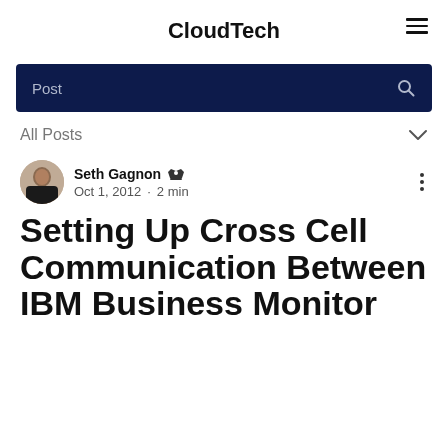CloudTech
Post
All Posts
Seth Gagnon · Oct 1, 2012 · 2 min
Setting Up Cross Cell Communication Between IBM Business Monitor